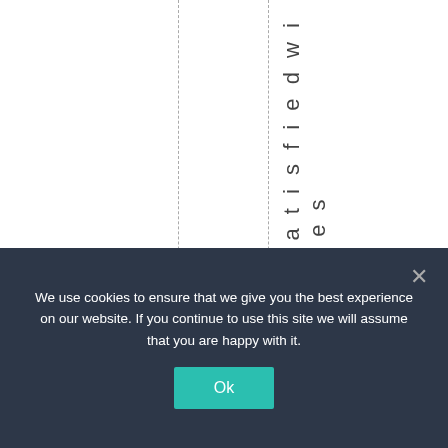[Figure (other): White page area with two vertical dashed lines and vertical text reading 'satisfied with the s' running downward along the right dashed line]
We use cookies to ensure that we give you the best experience on our website. If you continue to use this site we will assume that you are happy with it.